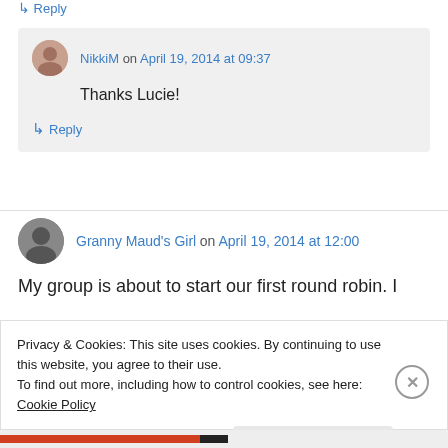↳ Reply
NikkiM on April 19, 2014 at 09:37
Thanks Lucie!
↳ Reply
Granny Maud's Girl on April 19, 2014 at 12:00
My group is about to start our first round robin. I
Privacy & Cookies: This site uses cookies. By continuing to use this website, you agree to their use.
To find out more, including how to control cookies, see here: Cookie Policy
Close and accept